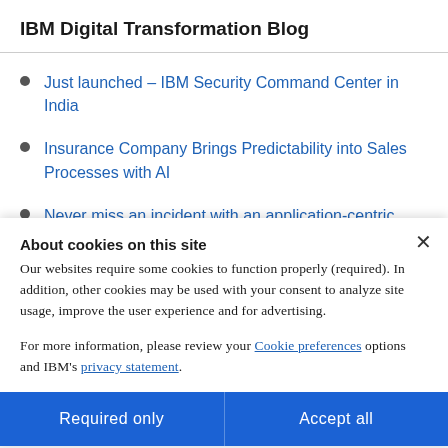IBM Digital Transformation Blog
Just launched – IBM Security Command Center in India
Insurance Company Brings Predictability into Sales Processes with AI
Never miss an incident with an application-centric
About cookies on this site
Our websites require some cookies to function properly (required). In addition, other cookies may be used with your consent to analyze site usage, improve the user experience and for advertising.
For more information, please review your Cookie preferences options and IBM's privacy statement.